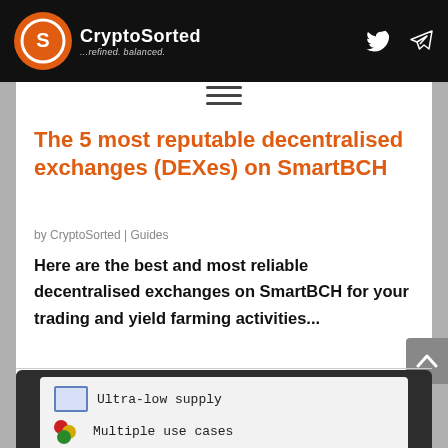CryptoSorted - ...refined. balanced.
The 5 most reputable decentralised exchanges (DEXes) on SmartBCH
by CryptoSorted | Guides
Here are the best and most reliable decentralised exchanges on SmartBCH for your trading and yield farming activities...
[Figure (infographic): Dark background infographic panel showing two list items: 1) A blue rectangle icon with 'Ultra-low supply' label in monospace. 2) A multi-colored dots icon (red, yellow, green) with 'Multiple use cases' label in monospace.]